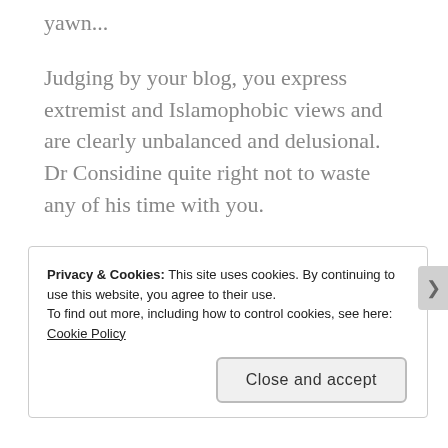yawn...
Judging by your blog, you express extremist and Islamophobic views and are clearly unbalanced and delusional. Dr Considine quite right not to waste any of his time with you.
He is a serious scholar. You are not. Go play your games elsewhere.
★ Like
Reply
Privacy & Cookies: This site uses cookies. By continuing to use this website, you agree to their use.
To find out more, including how to control cookies, see here: Cookie Policy
Close and accept